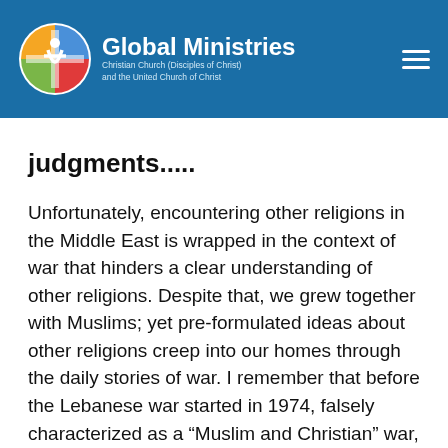[Figure (logo): Global Ministries logo with circular multi-color emblem and text 'Global Ministries, Christian Church (Disciples of Christ) and the United Church of Christ' on a blue header bar with hamburger menu icon]
judgments.....
Unfortunately, encountering other religions in the Middle East is wrapped in the context of war that hinders a clear understanding of other religions. Despite that, we grew together with Muslims; yet pre-formulated ideas about other religions creep into our homes through the daily stories of war. I remember that before the Lebanese war started in 1974, falsely characterized as a “Muslim and Christian” war, we hardly cared to